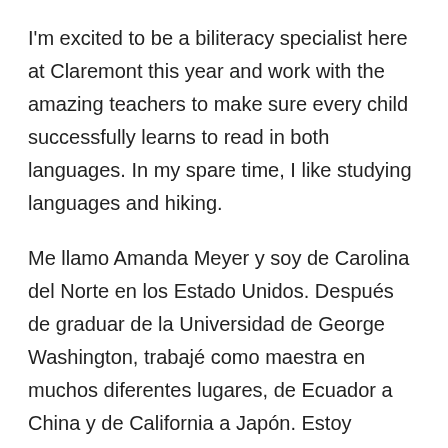I'm excited to be a biliteracy specialist here at Claremont this year and work with the amazing teachers to make sure every child successfully learns to read in both languages. In my spare time, I like studying languages and hiking.
Me llamo Amanda Meyer y soy de Carolina del Norte en los Estado Unidos. Después de graduar de la Universidad de George Washington, trabajé como maestra en muchos diferentes lugares, de Ecuador a China y de California a Japón. Estoy emocionada ser especialista de lectura en los dos idiomas este año aquí en Claremont y trabajar juntos con los maestros para que todos los estudiantes tengan éxito en aprender a leer en los dos idiomas. En mi tiempo libre, me gusta...